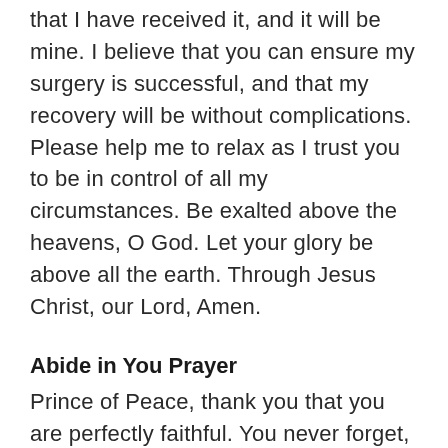whatever I ask for in prayer, I should believe that I have received it, and it will be mine. I believe that you can ensure my surgery is successful, and that my recovery will be without complications. Please help me to relax as I trust you to be in control of all my circumstances. Be exalted above the heavens, O God. Let your glory be above all the earth. Through Jesus Christ, our Lord, Amen.
Abide in You Prayer
Prince of Peace, thank you that you are perfectly faithful. You never forget, you never fail and you never take back a promise. You have promised that, if I abide